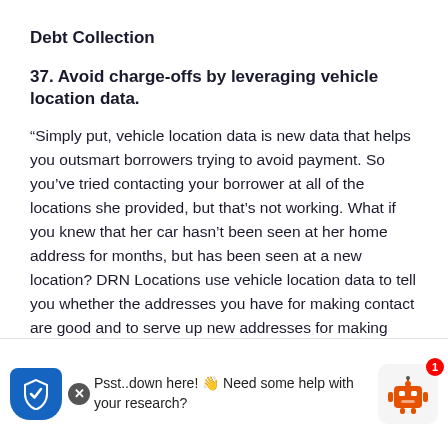Debt Collection
37. Avoid charge-offs by leveraging vehicle location data.
“Simply put, vehicle location data is new data that helps you outsmart borrowers trying to avoid payment. So you’ve tried contacting your borrower at all of the locations she provided, but that’s not working. What if you knew that her car hasn’t been seen at her home address for months, but has been seen at a new location? DRN Locations use vehicle location data to tell you whether the addresses you have for making contact are good and to serve up new addresses for making contact. And DRN has more… [there’s a go… vhic ation da…]